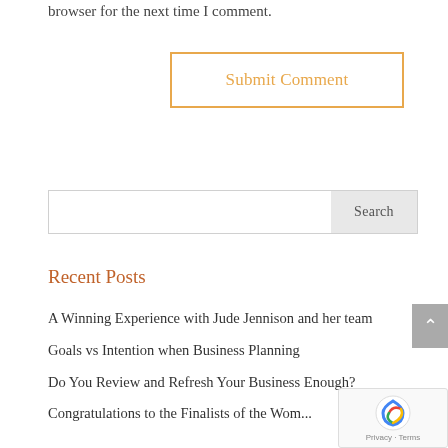browser for the next time I comment.
[Figure (other): Submit Comment button with orange border and text]
[Figure (other): Search input field with Search button]
Recent Posts
A Winning Experience with Jude Jennison and her team
Goals vs Intention when Business Planning
Do You Review and Refresh Your Business Enough?
Congratulations to the Finalists of the Women...